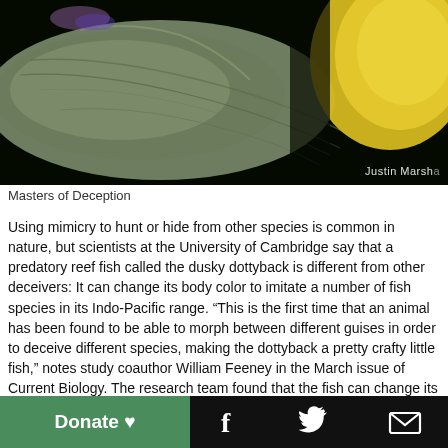[Figure (photo): Close-up photograph of two fish against a black background. Left: a dusky dottyback fish with brown/grey-green mottled coloration showing scale texture and fin details. Right: a bright yellow fish specimen partially visible at upper right. Photo credit: Justin Marshall.]
Masters of Deception
Using mimicry to hunt or hide from other species is common in nature, but scientists at the University of Cambridge say that a predatory reef fish called the dusky dottyback is different from other deceivers: It can change its body color to imitate a number of fish species in its Indo-Pacific range. “This is the first time that an animal has been found to be able to morph between different guises in order to deceive different species, making the dottyback a pretty crafty little fish,” notes study coauthor William Feeney in the March issue of Current Biology. The research team found that the fish can change its coloration to brown or yellow (left and right, respectively, in
Donate ♥  [Facebook icon]  [Twitter icon]  [Email icon]